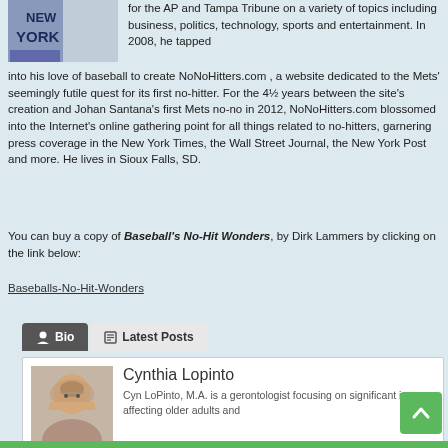[Figure (photo): Partial photo of person wearing New York sports jersey, cropped at top-left]
for the AP and Tampa Tribune on a variety of topics including business, politics, technology, sports and entertainment. In 2008, he tapped into his love of baseball to create NoNoHitters.com , a website dedicated to the Mets' seemingly futile quest for its first no-hitter. For the 4½ years between the site's creation and Johan Santana's first Mets no-no in 2012, NoNoHitters.com blossomed into the Internet's online gathering point for all things related to no-hitters, garnering press coverage in the New York Times, the Wall Street Journal, the New York Post and more. He lives in Sioux Falls, SD.
You can buy a copy of Baseball's No-Hit Wonders, by Dirk Lammers by clicking on the link below:
Baseballs-No-Hit-Wonders
Cynthia Lopinto
[Figure (photo): Photo of Cynthia Lopinto, a woman with glasses and long hair, smiling]
Cyn LoPinto, M.A. is a gerontologist focusing on significant issues affecting older adults and